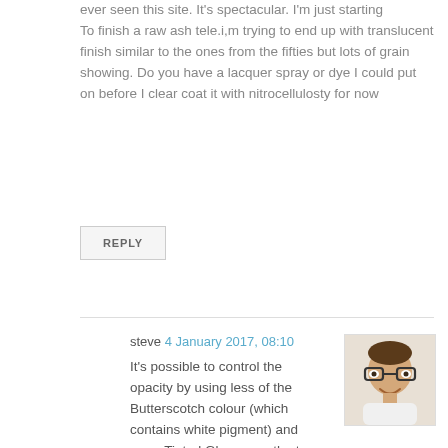ever seen this site. It's spectacular. I'm just starting
To finish a raw ash tele.i,m trying to end up with translucent finish similar to the ones from the fifties but lots of grain showing. Do you have a lacquer spray or dye I could put on before I clear coat it with nitrocellulosty for now
REPLY
steve 4 January 2017, 08:10
It's possible to control the opacity by using less of the Butterscotch colour (which contains white pigment) and more Tinted Gloss over the top.